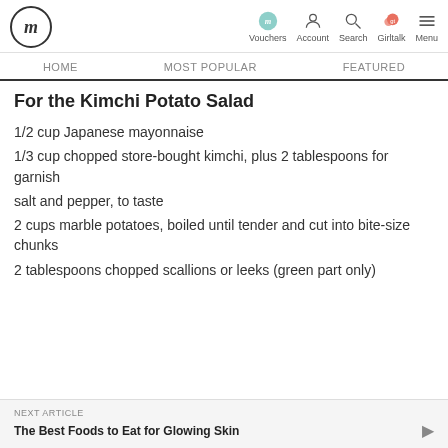fm | Vouchers | Account | Search | Girltalk | Menu
HOME | MOST POPULAR | FEATURED
For the Kimchi Potato Salad
1/2 cup Japanese mayonnaise
1/3 cup chopped store-bought kimchi, plus 2 tablespoons for garnish
salt and pepper, to taste
2 cups marble potatoes, boiled until tender and cut into bite-size chunks
2 tablespoons chopped scallions or leeks (green part only)
NEXT ARTICLE
The Best Foods to Eat for Glowing Skin